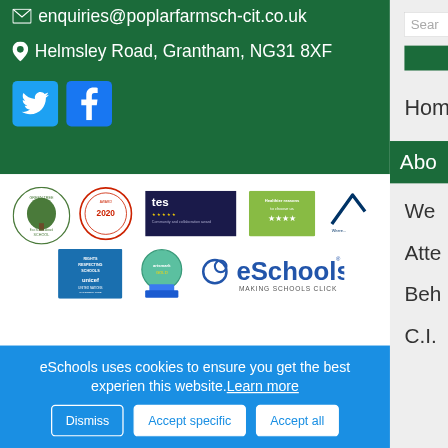enquiries@poplarfarmsch-cit.co.uk
Helmsley Road, Grantham, NG31 8XF
[Figure (logo): Twitter and Facebook social media icons]
Sear
Hom
Abo
We
Atte
Beh
C.I.
[Figure (logo): Green Tree School logo]
[Figure (logo): Red circular award badge 2020]
[Figure (logo): TES Community and collaboration award banner]
[Figure (logo): Healthier reasons to choose us green badge]
[Figure (logo): Partial arrow logo]
[Figure (logo): UNICEF Rights Respecting Schools logo]
[Figure (logo): Artsmark gold award logo]
[Figure (logo): eSchools - Making Schools Click logo]
eSchools uses cookies to ensure you get the best experien this website.Learn more
Dismiss
Accept specific
Accept all